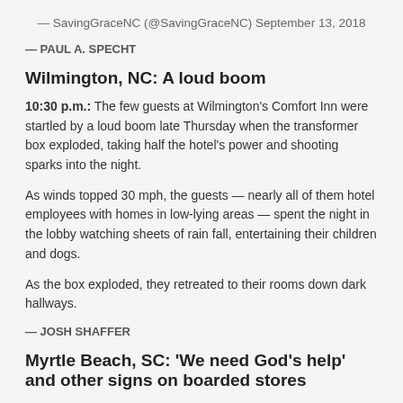— SavingGraceNC (@SavingGraceNC) September 13, 2018
— PAUL A. SPECHT
Wilmington, NC: A loud boom
10:30 p.m.: The few guests at Wilmington's Comfort Inn were startled by a loud boom late Thursday when the transformer box exploded, taking half the hotel's power and shooting sparks into the night.
As winds topped 30 mph, the guests — nearly all of them hotel employees with homes in low-lying areas — spent the night in the lobby watching sheets of rain fall, entertaining their children and dogs.
As the box exploded, they retreated to their rooms down dark hallways.
— JOSH SHAFFER
Myrtle Beach, SC: 'We need God's help' and other signs on boarded stores
7:30 p.m.: Boarded storefront windows have become the forum for Myrtle